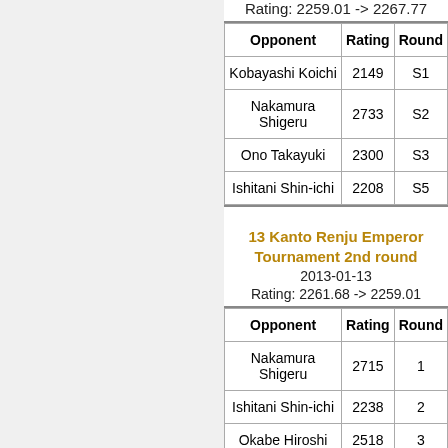Rating: 2259.01 -> 2267.77
| Opponent | Rating | Round |
| --- | --- | --- |
| Kobayashi Koichi | 2149 | S1 |
| Nakamura Shigeru | 2733 | S2 |
| Ono Takayuki | 2300 | S3 |
| Ishitani Shin-ichi | 2208 | S5 |
13 Kanto Renju Emperor Tournament 2nd round
2013-01-13
Rating: 2261.68 -> 2259.01
| Opponent | Rating | Round |
| --- | --- | --- |
| Nakamura Shigeru | 2715 | 1 |
| Ishitani Shin-ichi | 2238 | 2 |
| Okabe Hiroshi | 2518 | 3 |
| Kudomi Takahiro | 2268 | 4 |
| Fukui Nobuhiro | 2404 | 5 |